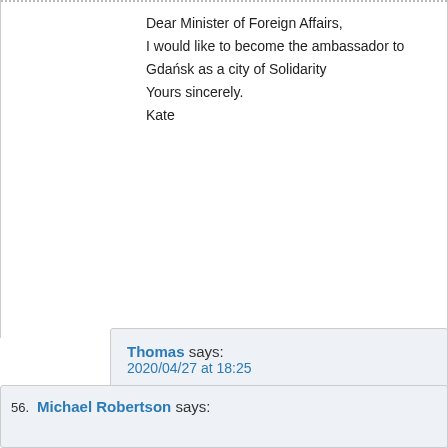Dear Minister of Foreign Affairs,
I would like to become the ambassador to Gdańsk as a city of Solidarity
Yours sincerely.
Kate
Thomas says:
2020/04/27 at 18:25
Hello, Kate
It would be nice to appoint You ambassador in Gdansk. I spend
There was an Ambassador, Artur Matys, a publisher, but I have
So we can discuss this idea.
Thomas Chepaitis
56. Michael Robertson says: